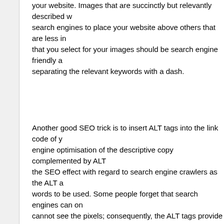your website. Images that are succinctly but relevantly described will help search engines to place your website above others that are less informed. Names that you select for your images should be search engine friendly and include separating the relevant keywords with a dash.
Another good SEO trick is to insert ALT tags into the link code of your search engine optimisation of the descriptive copy complemented by ALT tags boosts the SEO effect with regard to search engine crawlers as the ALT allows key words to be used. Some people forget that search engines can only read text, cannot see the pixels; consequently, the ALT tags provide another way to describe the image using additional key words.
It is tempting to stuff the ALT tags with numerous key words but the search engine crawlers will suffer from indigestion and reject your website. The fact that your website is being punished remains unbeknownst to you, as fewer visitors are coming to your site.
In terms of etiquette, the ALT tag descriptions should accurately describe the images and should be written in a way that a blind person using a screen reader gets a genuine feel for the image.